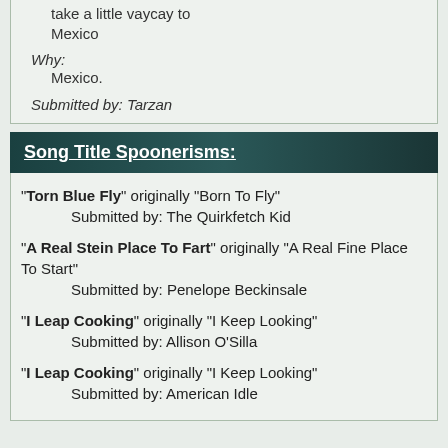take a little vaycay to Mexico
Why: Mexico.
Submitted by: Tarzan
Song Title Spoonerisms:
"Torn Blue Fly" originally "Born To Fly" Submitted by: The Quirkfetch Kid
"A Real Stein Place To Fart" originally "A Real Fine Place To Start" Submitted by: Penelope Beckinsale
"I Leap Cooking" originally "I Keep Looking" Submitted by: Allison O'Silla
"I Leap Cooking" originally "I Keep Looking" Submitted by: American Idle